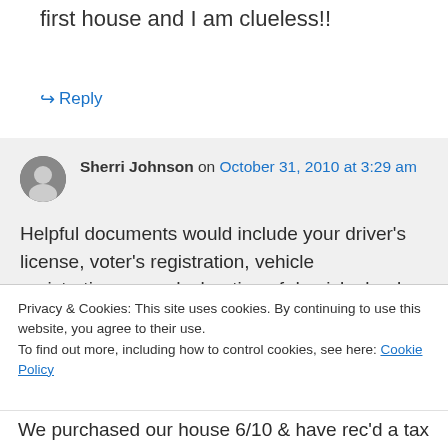first house and I am clueless!!
↪ Reply
Sherri Johnson on October 31, 2010 at 3:29 am
Helpful documents would include your driver's license, voter's registration, vehicle registrations, any declaration of domicle, bank statements, utility bills, etc.
Privacy & Cookies: This site uses cookies. By continuing to use this website, you agree to their use.
To find out more, including how to control cookies, see here: Cookie Policy
Close and accept
We purchased our house 6/10 & have rec'd a tax